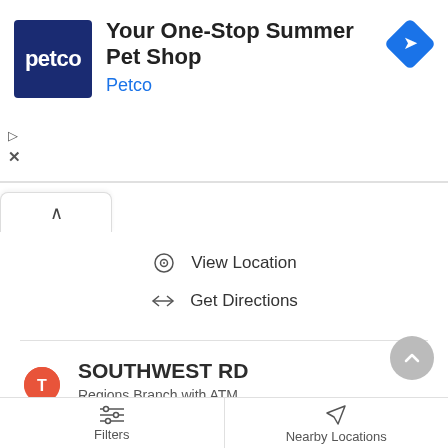[Figure (screenshot): Petco advertisement banner showing logo, 'Your One-Stop Summer Pet Shop', 'Petco' subtitle, and a blue direction icon.]
View Location
Get Directions
SOUTHWEST RD
Regions Branch with ATM
Address
617 SOUTHWEST DRIVE
JONESBORO, AR, 72401
Phone